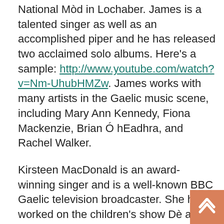National Mòd in Lochaber. James is a talented singer as well as an accomplished piper and he has released two acclaimed solo albums. Here's a sample: http://www.youtube.com/watch?v=Nm-UhubHMZw. James works with many artists in the Gaelic music scene, including Mary Ann Kennedy, Fiona Mackenzie, Brian Ó hEadhra, and Rachel Walker.
Kirsteen MacDonald is an award-winning singer and is a well-known BBC Gaelic television broadcaster. She has worked on the children's show Dè a-nis? and is now BBC's first ever Gaelic weather reporter. Kirsteen also presents the weekly news review programme, Seachd Là. In addition to teaching language and song, Kirsteen will also be covering the week's activities and the Highland Games for the BBC. Here's a sample of Kirsteen's music: